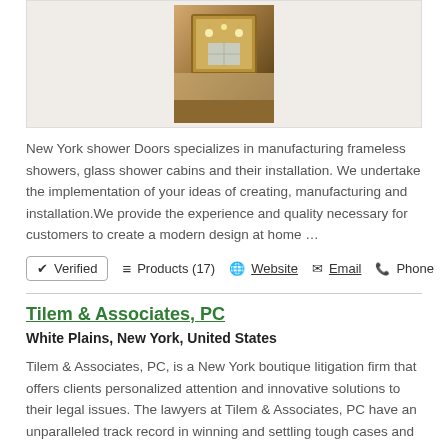[Figure (photo): Bathroom photo showing a mirror with chandelier lights reflected, warm golden tones]
New York shower Doors specializes in manufacturing frameless showers, glass shower cabins and their installation. We undertake the implementation of your ideas of creating, manufacturing and installation.We provide the experience and quality necessary for customers to create a modern design at home …
✔ Verified   ≡ Products (17)   🌐 Website   ✉ Email   📞 Phone
Tilem & Associates, PC
White Plains, New York, United States
Tilem & Associates, PC, is a New York boutique litigation firm that offers clients personalized attention and innovative solutions to their legal issues. The lawyers at Tilem & Associates, PC have an unparalleled track record in winning and settling tough cases and obtaining the best possibl…
✔ Verified   ≡ Products (16)   🌐 Website   ✉ Email   📞 Phone